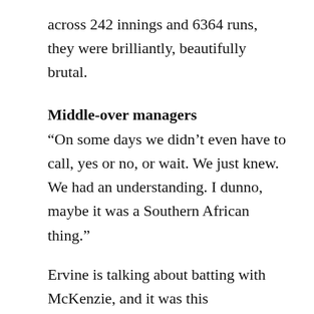across 242 innings and 6364 runs, they were brilliantly, beautifully brutal.
Middle-over managers
“On some days we didn’t even have to call, yes or no, or wait. We just knew. We had an understanding. I dunno, maybe it was a Southern African thing.”
Ervine is talking about batting with McKenzie, and it was this understanding, not just between them but all of the batsmen, that White believes was the foundation of Hampshire’s success in the middle overs.